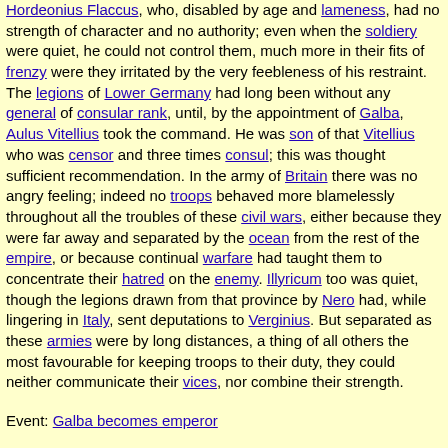Hordeonius Flaccus, who, disabled by age and lameness, had no strength of character and no authority; even when the soldiery were quiet, he could not control them, much more in their fits of frenzy were they irritated by the very feebleness of his restraint. The legions of Lower Germany had long been without any general of consular rank, until, by the appointment of Galba, Aulus Vitellius took the command. He was son of that Vitellius who was censor and three times consul; this was thought sufficient recommendation. In the army of Britain there was no angry feeling; indeed no troops behaved more blamelessly throughout all the troubles of these civil wars, either because they were far away and separated by the ocean from the rest of the empire, or because continual warfare had taught them to concentrate their hatred on the enemy. Illyricum too was quiet, though the legions drawn from that province by Nero had, while lingering in Italy, sent deputations to Verginius. But separated as these armies were by long distances, a thing of all others the most favourable for keeping troops to their duty, they could neither communicate their vices, nor combine their strength.
Event: Galba becomes emperor